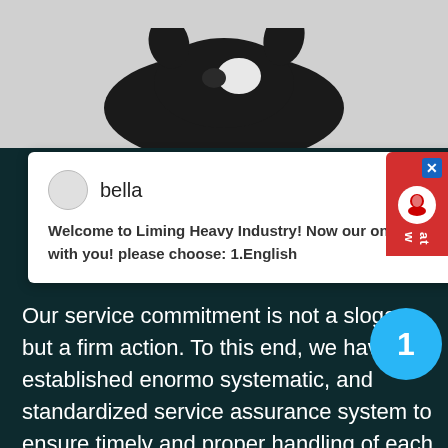[Figure (photo): Partial photo of a black animal (likely a cat or dog) on a grey background, showing the upper portion.]
[Figure (screenshot): Chat popup widget with avatar, name 'bella', and welcome message from Liming Heavy Industry. Red chat button widget visible in top right corner with close X button and headset icon.]
Our service commitment is not a slogan but a firm action. To this end, we have established enormous systematic, and standardized service assurance system to ensure timely and proper handling of each service item...